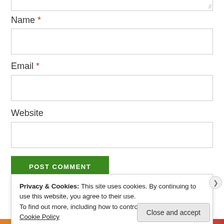Name *
[Figure (other): Empty text input field for Name]
Email *
[Figure (other): Empty text input field for Email]
Website
[Figure (other): Empty text input field for Website]
[Figure (other): POST COMMENT green button]
Privacy & Cookies: This site uses cookies. By continuing to use this website, you agree to their use. To find out more, including how to control cookies, see here: Cookie Policy
[Figure (other): Close and accept button]